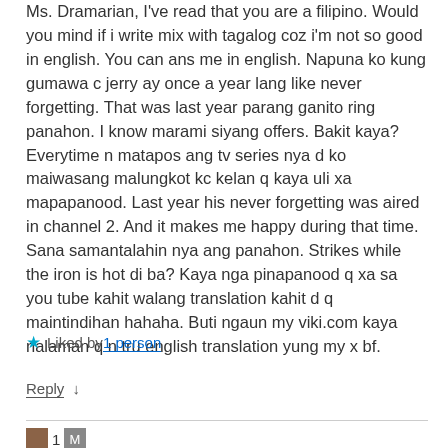Ms. Dramarian, I've read that you are a filipino. Would you mind if i write mix with tagalog coz i'm not so good in english. You can ans me in english. Napuna ko kung gumawa c jerry ay once a year lang like never forgetting. That was last year parang ganito ring panahon. I know marami siyang offers. Bakit kaya? Everytime n matapos ang tv series nya d ko maiwasang malungkot kc kelan q kaya uli xa mapapanood. Last year his never forgetting was aired in channel 2. And it makes me happy during that time. Sana samantalahin nya ang panahon. Strikes while the iron is hot di ba? Kaya nga pinapanood q xa sa you tube kahit walang translation kahit d q maintindihan hahaha. Buti ngaun my viki.com kaya nalaman q n tru english translation yung my x bf.
Liked by 1 person
Reply ↓